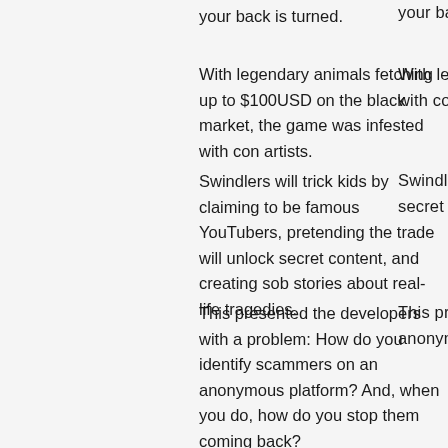your back is turned.
With legendary animals fetching up to $100USD on the black market, the game was infested with con artists.
Swindlers will trick kids by claiming to be famous YouTubers, pretending the trade will unlock secret content, and creating sob stories about real-life tragedies.
This presented the developers with a problem: How do you identify scammers on an anonymous platform? And, when you do, how do you stop them coming back?
The short answer? They couldn't.
Instead, the developers turned their focus to identifying potential victims.
In order to trade rare pets in the game, players must now apply for a trading license. Once they've proven they understand how scammers work and the techniques they use, they're